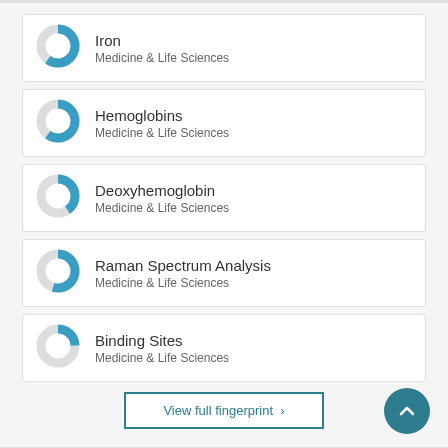[Figure (donut-chart): Donut chart showing partial fill (~60%) in blue for Iron, Medicine & Life Sciences]
Iron
Medicine & Life Sciences
[Figure (donut-chart): Donut chart showing partial fill (~60%) in blue for Hemoglobins, Medicine & Life Sciences]
Hemoglobins
Medicine & Life Sciences
[Figure (donut-chart): Donut chart showing partial fill (~40%) in blue for Deoxyhemoglobin, Medicine & Life Sciences]
Deoxyhemoglobin
Medicine & Life Sciences
[Figure (donut-chart): Donut chart showing partial fill (~55%) in blue for Raman Spectrum Analysis, Medicine & Life Sciences]
Raman Spectrum Analysis
Medicine & Life Sciences
[Figure (donut-chart): Donut chart showing partial fill (~25%) in blue for Binding Sites, Medicine & Life Sciences]
Binding Sites
Medicine & Life Sciences
View full fingerprint >